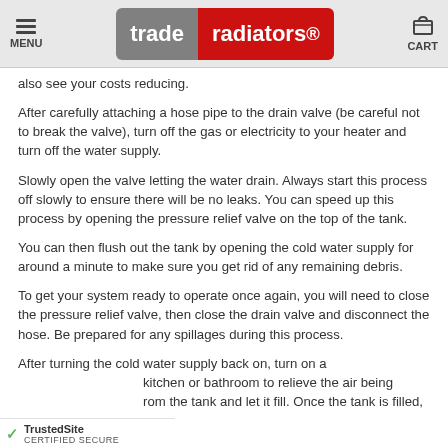MENU | trade radiators | CART
also see your costs reducing.
After carefully attaching a hose pipe to the drain valve (be careful not to break the valve), turn off the gas or electricity to your heater and turn off the water supply.
Slowly open the valve letting the water drain. Always start this process off slowly to ensure there will be no leaks. You can speed up this process by opening the pressure relief valve on the top of the tank.
You can then flush out the tank by opening the cold water supply for around a minute to make sure you get rid of any remaining debris.
To get your system ready to operate once again, you will need to close the pressure relief valve, then close the drain valve and disconnect the hose. Be prepared for any spillages during this process.
After turning the cold water supply back on, turn on a kitchen or bathroom to relieve the air being expelled from the tank and let it fill. Once the tank is filled,
TrustedSite CERTIFIED SECURE